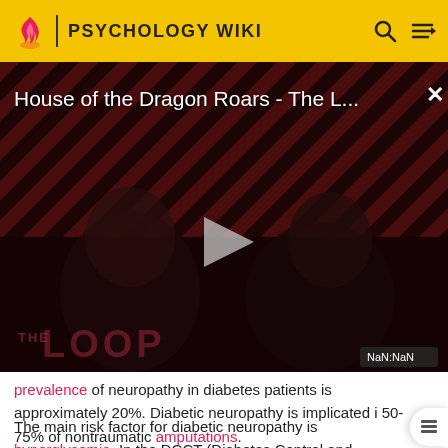PSYCHOLOGY WIKI
[Figure (screenshot): Video player showing 'House of the Dragon Roars - The L...' with a dark background featuring diagonal red and black stripes, two figures in the foreground, a play button in the center, 'THE LOOP' branding text, and a NaN:NaN timestamp badge in the lower right.]
prevalence of neuropathy in diabetes patients is approximately 20%. Diabetic neuropathy is implicated in 50-75% of nontraumatic amputations.
The main risk factor for diabetic neuropathy is hyperglycemia. In the DCCT (Diabetes Control and